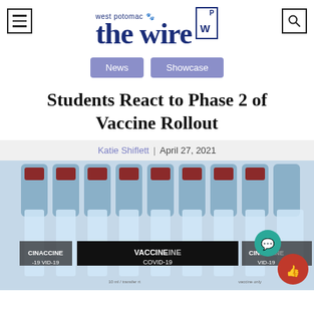west potomac the wire WP [hamburger menu] [search icon]
News | Showcase
Students React to Phase 2 of Vaccine Rollout
Katie Shiflett | April 27, 2021
[Figure (photo): Photo of multiple COVID-19 vaccine vials labeled VACCINE COVID-19 arranged in a row, with chat and like icon buttons overlaid in bottom-right corner.]